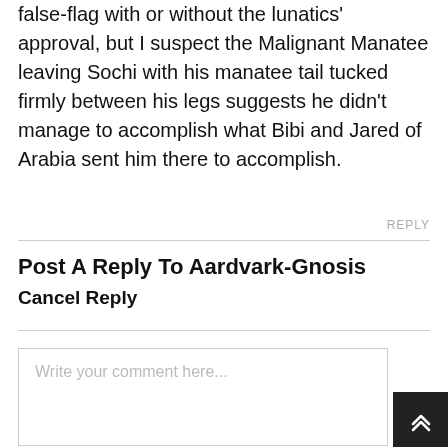false-flag with or without the lunatics' approval, but I suspect the Malignant Manatee leaving Sochi with his manatee tail tucked firmly between his legs suggests he didn't manage to accomplish what Bibi and Jared of Arabia sent him there to accomplish.
REPLY
Post A Reply To Aardvark-Gnosis Cancel Reply
Write your comment here...